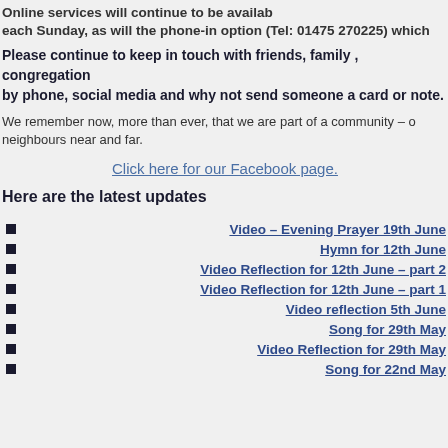Online services will continue to be available each Sunday, as will the phone-in option (Tel: 01475 270225) which
Please continue to keep in touch with friends, family , congregation by phone, social media and why not send someone a card or note.
We remember now, more than ever, that we are part of a community – of neighbours near and far.
Click here for our Facebook page.
Here are the latest updates
Video – Evening Prayer 19th June
Hymn for 12th June
Video Reflection for 12th June – part 2
Video Reflection for 12th June – part 1
Video reflection 5th June
Song for 29th May
Video Reflection for 29th May
Song for 22nd May